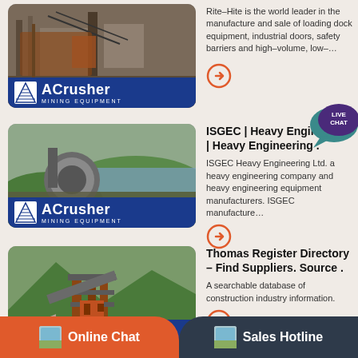[Figure (photo): Mining/industrial equipment scene with ACrusher Mining Equipment logo overlay, first entry]
Rite-Hite is the world leader in the manufacture and sale of loading dock equipment, industrial doors, safety barriers and high-volume, low-...
[Figure (photo): Crusher/mining equipment scene with ACrusher Mining Equipment logo overlay, second entry]
ISGEC | Heavy Engineering | Heavy Engineering .
ISGEC Heavy Engineering Ltd. a heavy engineering company and heavy engineering equipment manufacturers. ISGEC manufacture...
[Figure (photo): Mining site with heavy machinery and ACrusher Mining Equipment logo overlay, third entry]
Thomas Register Directory – Find Suppliers. Source .
A searchable database of construction industry information.
[Figure (illustration): Live Chat speech bubble badge in teal/purple]
Online Chat
Sales Hotline